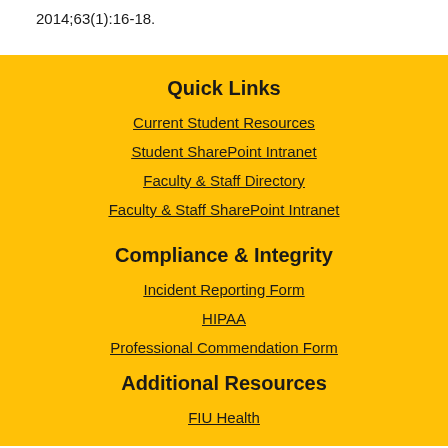2014;63(1):16-18.
Quick Links
Current Student Resources
Student SharePoint Intranet
Faculty & Staff Directory
Faculty & Staff SharePoint Intranet
Compliance & Integrity
Incident Reporting Form
HIPAA
Professional Commendation Form
Additional Resources
FIU Health